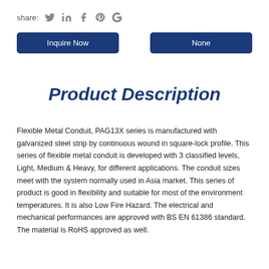share:
Product Description
Flexible Metal Conduit, PAG13X series is manufactured with galvanized steel strip by continuous wound in square-lock profile. This series of flexible metal conduit is developed with 3 classified levels, Light, Medium & Heavy, for different applications. The conduit sizes meet with the system normally used in Asia market. This series of product is good in flexibility and suitable for most of the environment temperatures. It is also Low Fire Hazard. The electrical and mechanical performances are approved with BS EN 61386 standard. The material is RoHS approved as well.